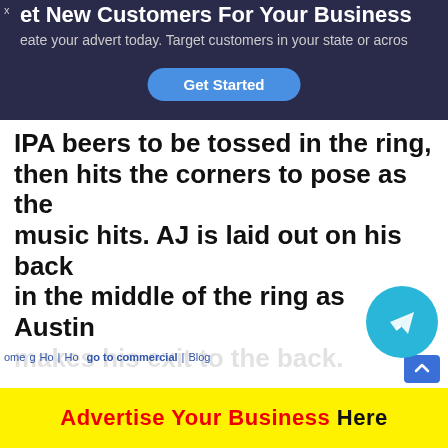[Figure (screenshot): Top advertisement banner with dark navy background. Text: 'Get New Customers For Your Business', 'Create your advert today. Target customers in your state or across...', and a blue 'Get Started' button.]
IPA beers to be tossed in the ring, then hits the corners to pose as the music hits. AJ is laid out on his back in the middle of the ring as Austin makes his exit to the back.

– Still to come, the Four Horsewomen in tag team action. We go to commercial. Cedric Alexander vs. AJ Styles Back for some bonus take some see AJ
Home | Blog
[Figure (screenshot): Bottom advertisement banner with yellow background: 'Advertise Your Business Here']